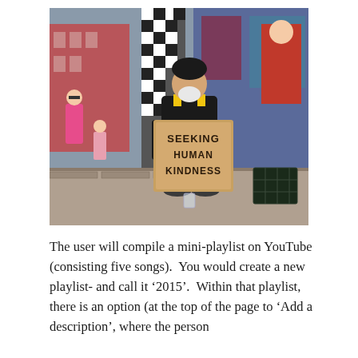[Figure (photo): A man sitting on a city sidewalk holding a cardboard sign that reads 'SEEKING HUMAN KINDNESS'. He is wearing a black beanie hat and a black and yellow jacket with blue jeans. Behind him is a large decorative column with a black and white checkered pattern and graffiti/mural art. To the right is a black plastic milk crate. In the background are pedestrians and brick buildings. A clear plastic cup sits on the ground in front of him.]
The user will compile a mini-playlist on YouTube (consisting five songs).  You would create a new playlist- and call it '2015'.  Within that playlist, there is an option (at the top of the page to 'Add a description', where the person